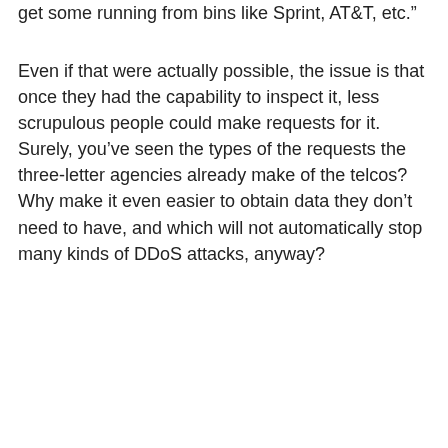get some running from bins like Sprint, AT&T, etc.”
Even if that were actually possible, the issue is that once they had the capability to inspect it, less scrupulous people could make requests for it. Surely, you’ve seen the types of the requests the three-letter agencies already make of the telcos? Why make it even easier to obtain data they don’t need to have, and which will not automatically stop many kinds of DDoS attacks, anyway?
nov
-
December 28, 2014
Disagree:
I’d prefer a three-letter agency over what’s happening now. I’ll take three-letter agency control vs malicious packets (from LizardSquad, etc) traveling from known malicious destinations, but that’s me. |C...